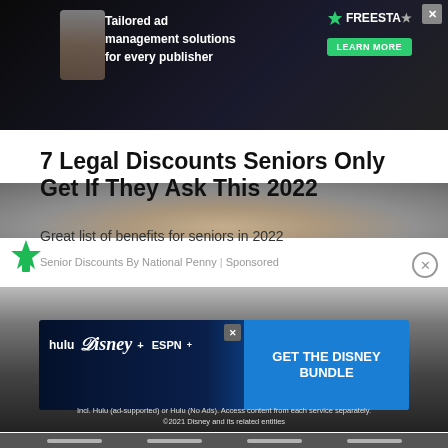[Figure (screenshot): Advertisement banner for Freestar ad management platform with dark background, character illustration, and 'LEARN MORE' button]
[Figure (photo): Partial photo strip showing crumpled metallic/foil surface, gray tones]
7 Legal Discounts Seniors Only Get If They Ask This 2022
Great list of benefits for seniors in 2022
Senior Discounts By National Penny | Sponsored
[Figure (screenshot): Disney Bundle advertisement with Hulu, Disney+, and ESPN+ logos and 'GET THE DISNEY BUNDLE' call to action button. Fine print: Incl. Hulu (ad-supported) or Hulu (No Ads). Access content from each service separately. ©2021 Disney and its related entities]